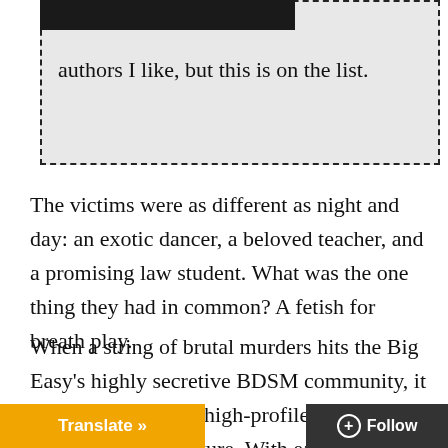authors I like, but this is on the list.
The victims were as different as night and day: an exotic dancer, a beloved teacher, and a promising law student. What was the one thing they had in common? A fetish for breath play.
When a string of brutal murders hits the Big Easy's highly secretive BDSM community, it threatens to expose high-profile members of its conservative culture. With each clue Ne